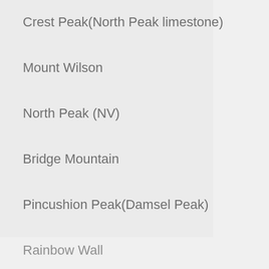Crest Peak(North Peak limestone)
Mount Wilson
North Peak (NV)
Bridge Mountain
Pincushion Peak(Damsel Peak)
Rainbow Wall
Rainbow Mountain
Pincushion Pinnacle
Bridge Point
Yoga Peak
Mountain Springs Peak
Indecision Peak
White Rock Mountain
Goodman Peak